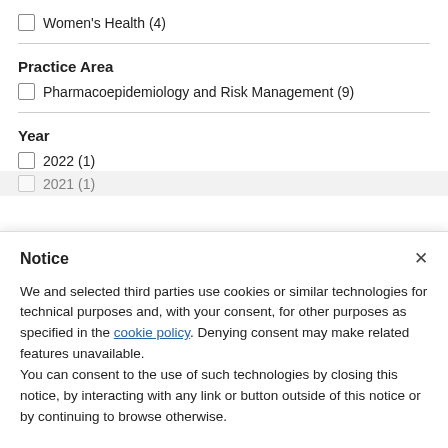Women's Health (4)
Practice Area
Pharmacoepidemiology and Risk Management (9)
Year
2022 (1)
2021 (1)
Notice
We and selected third parties use cookies or similar technologies for technical purposes and, with your consent, for other purposes as specified in the cookie policy. Denying consent may make related features unavailable.
You can consent to the use of such technologies by closing this notice, by interacting with any link or button outside of this notice or by continuing to browse otherwise.